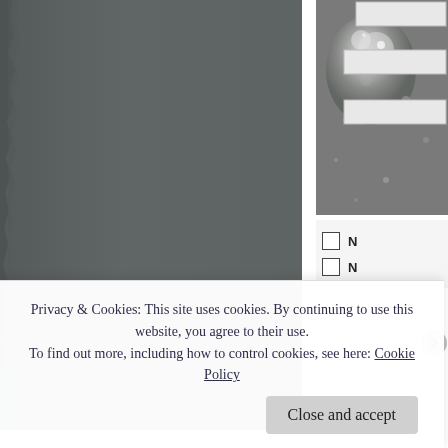[Figure (photo): Dark gray torn-edge photo on left side of page, showing a crumpled or textured dark gray surface]
[Figure (photo): Grayscale photo on upper right showing a splattered or crystalline pattern, possibly a scientific/nature image, with white speckles on gray background]
N (checkbox unchecked)
N (checkbox unchecked)
Privacy & Cookies: This site uses cookies. By continuing to use this website, you agree to their use.
To find out more, including how to control cookies, see here: Cookie Policy
Close and accept